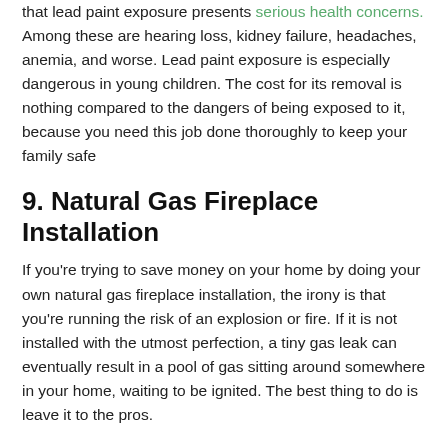that lead paint exposure presents serious health concerns. Among these are hearing loss, kidney failure, headaches, anemia, and worse. Lead paint exposure is especially dangerous in young children. The cost for its removal is nothing compared to the dangers of being exposed to it, because you need this job done thoroughly to keep your family safe
9. Natural Gas Fireplace Installation
If you're trying to save money on your home by doing your own natural gas fireplace installation, the irony is that you're running the risk of an explosion or fire. If it is not installed with the utmost perfection, a tiny gas leak can eventually result in a pool of gas sitting around somewhere in your home, waiting to be ignited. The best thing to do is leave it to the pros.